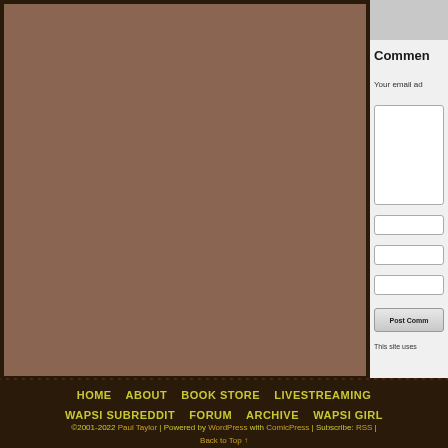[Figure (illustration): Brown/tan colored main content area panel with dark border, occupying left portion of page]
[Figure (photo): Avatar/profile image thumbnail in gray, partially visible at top right]
Commen
Your email ad
[Figure (screenshot): Comment form with textarea, three input fields, and Post Comment button]
This site uses
HOME | ABOUT | BOOK STORE | LIVESTREAMING | WAPSI SUBREDDIT | FORUM | ARCHIVE | WAPSI GIRL
©2001-2022 Paul Taylor | Powered by WordPress with ComicPress | Subscribe: RSS | Back to Top ↑